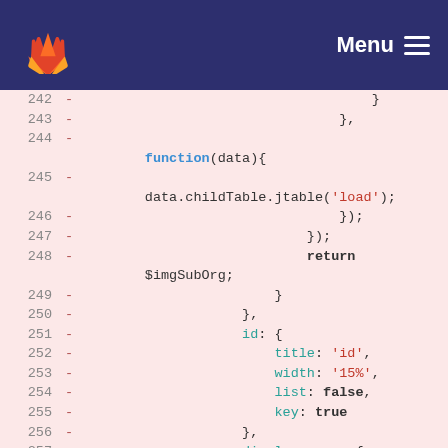[Figure (screenshot): GitLab navigation bar with logo and Menu button]
Code diff viewer showing lines 242-258 of a JavaScript file with jTable configuration including function(data), data.childTable.jtable('load'), return $imgSubOrg, id/title/width/list/key properties, and display_name block